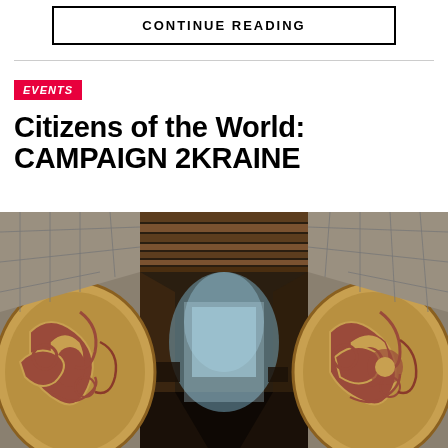CONTINUE READING
EVENTS
Citizens of the World: CAMPAIGN 2KRAINE
[Figure (photo): Two large circular wooden sculptural panels with intricate carved patterns flank an open corridor/hallway with wooden beam ceiling and a diamond-pattern stone/tile ceiling. The hallway leads to a view of water or landscape in the background. The sculptures appear to be decorative art pieces with organic, flowing designs.]